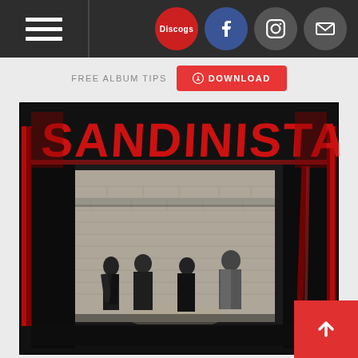Navigation bar with hamburger menu, Discogs, Facebook, Instagram, and Mail icons
FREE ALBUM TIPS  DOWNLOAD
[Figure (photo): Album cover of 'Sandinista!' by The Clash. Black and white photo of four band members standing against a brick wall under an archway, with the word 'SANDINISTA!' written in large red graffiti-style letters at the top. The image has a dark, gritty urban aesthetic.]